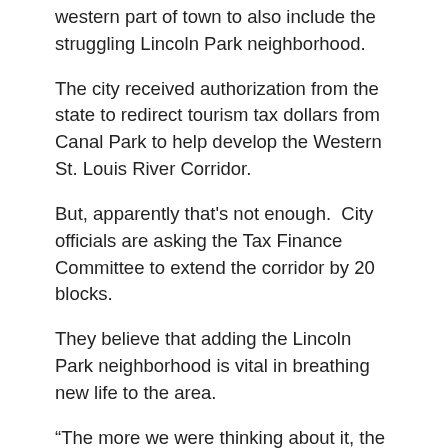western part of town to also include the struggling Lincoln Park neighborhood.
The city received authorization from the state to redirect tourism tax dollars from Canal Park to help develop the Western St. Louis River Corridor.
But, apparently that’s not enough.  City officials are asking the Tax Finance Committee to extend the corridor by 20 blocks.
They believe that adding the Lincoln Park neighborhood is vital in breathing new life to the area.
“The more we were thinking about it, the more we realized that Lincoln Park not only fits the concept